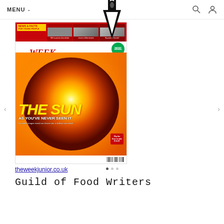MENU
[Figure (photo): Cover of The Week Junior magazine featuring a close-up image of the Sun with the headline 'THE SUN AS YOU'VE NEVER SEEN IT' and subtext 'Incredible images reveal our closest star in brilliant new detail']
theweekjunior.co.uk
Guild of Food Writers